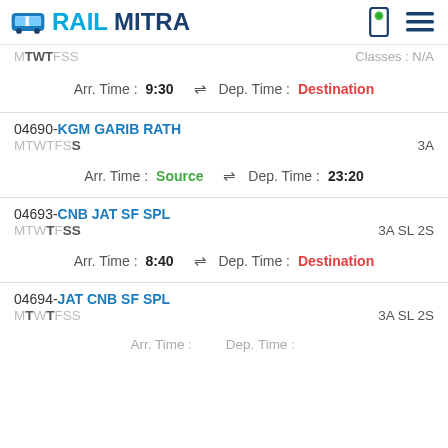RAILMITRA
Arr. Time :9:30 ⇌ Dep. Time :Destination
04690-KGM GARIB RATH MTWTFSS 3A Arr. Time :Source ⇌ Dep. Time :23:20
04693-CNB JAT SF SPL MTWTFSS 3A SL 2S Arr. Time :8:40 ⇌ Dep. Time :Destination
04694-JAT CNB SF SPL MTWTFSS 3A SL 2S